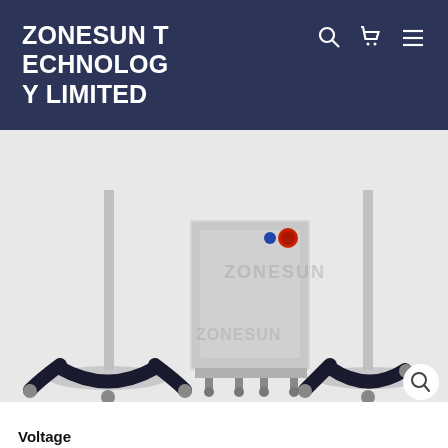ZONESUN TECHNOLOGY LIMITED
[Figure (photo): Industrial machine with two vertical poles on tripod-style black bases and a central boxy silver unit with a red control knob, mounted on adjustable feet. Watermark text 'ZONESUN' visible.]
Voltage
110V  220V
Price
$3,749.00